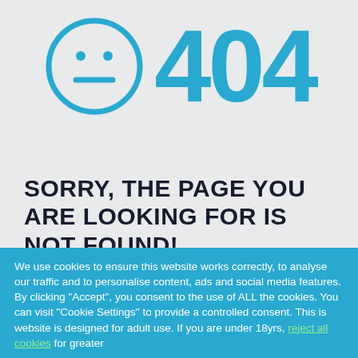[Figure (illustration): Blue outlined neutral/expressionless smiley face circle with two dot eyes and a straight horizontal mouth line, next to large blue '404' text]
SORRY, THE PAGE YOU ARE LOOKING FOR IS NOT FOUND!
We use cookies to ensure this website works correctly, to analyse our traffic and to personalise content, ads and social media features. By clicking "Accept", you consent to the use of ALL the cookies. You can visit "Cookie Settings" to provide a controlled consent. This is website is designed for adult use. If you are under 18yrs, reject all cookies for greater